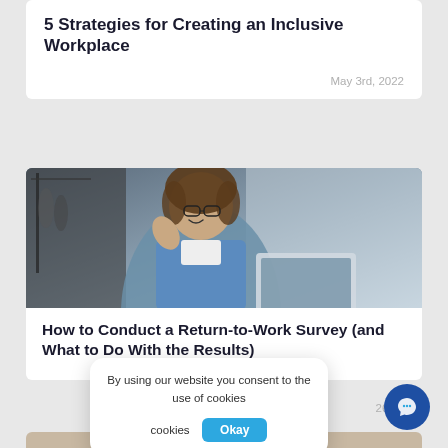5 Strategies for Creating an Inclusive Workplace
May 3rd, 2022
[Figure (photo): Woman with curly hair and glasses smiling, waving hand in front of a laptop in a home office setting]
How to Conduct a Return-to-Work Survey (and What to Do With the Results)
By using our website you consent to the use of cookies
Okay
26th